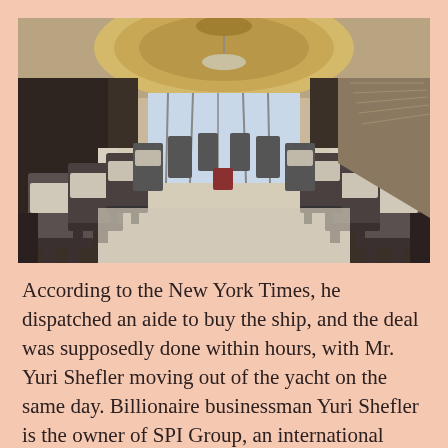[Figure (photo): Interior of a luxury yacht dining room with high-back dark wood chairs arranged along both sides of a long carpeted corridor, crystal chandelier on the ceiling with ornate circular paneling, large windows in the background.]
According to the New York Times, he dispatched an aide to buy the ship, and the deal was supposedly done within hours, with Mr. Yuri Shefler moving out of the yacht on the same day. Billionaire businessman Yuri Shefler is the owner of SPI Group, an international